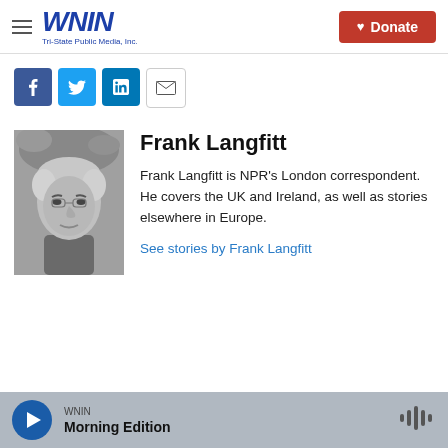[Figure (logo): WNIN Tri-State Public Media, Inc. logo in blue with hamburger menu icon on left and red Donate button on right]
[Figure (infographic): Social sharing buttons: Facebook (blue), Twitter (blue), LinkedIn (blue), Email (white/outlined)]
[Figure (photo): Black and white headshot photo of Frank Langfitt]
Frank Langfitt
Frank Langfitt is NPR's London correspondent. He covers the UK and Ireland, as well as stories elsewhere in Europe.
See stories by Frank Langfitt
WNIN Morning Edition